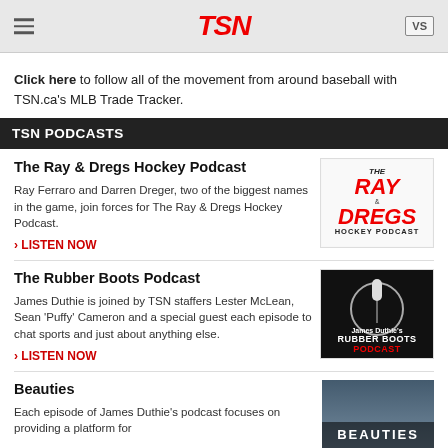TSN
Click here to follow all of the movement from around baseball with TSN.ca's MLB Trade Tracker.
TSN PODCASTS
The Ray & Dregs Hockey Podcast
Ray Ferraro and Darren Dreger, two of the biggest names in the game, join forces for The Ray & Dregs Hockey Podcast.
› LISTEN NOW
[Figure (logo): The Ray & Dregs Hockey Podcast logo - red bold text on white background]
The Rubber Boots Podcast
James Duthie is joined by TSN staffers Lester McLean, Sean 'Puffy' Cameron and a special guest each episode to chat sports and just about anything else.
› LISTEN NOW
[Figure (logo): James Duthie's Rubber Boots Podcast logo - microphone graphic with red and black text]
Beauties
Each episode of James Duthie's podcast focuses on providing a platform for
[Figure (photo): Beauties podcast thumbnail image with text overlay]